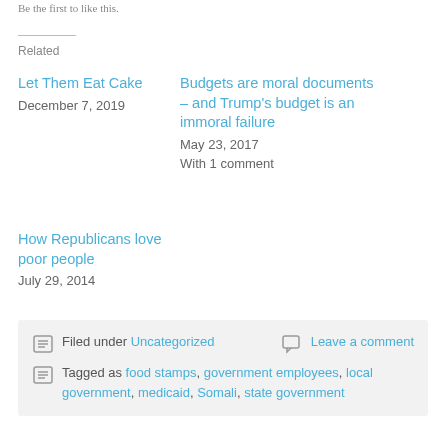Be the first to like this.
Related
Let Them Eat Cake
December 7, 2019
Budgets are moral documents – and Trump's budget is an immoral failure
May 23, 2017
With 1 comment
How Republicans love poor people
July 29, 2014
Filed under Uncategorized | Leave a comment
Tagged as food stamps, government employees, local government, medicaid, Somali, state government